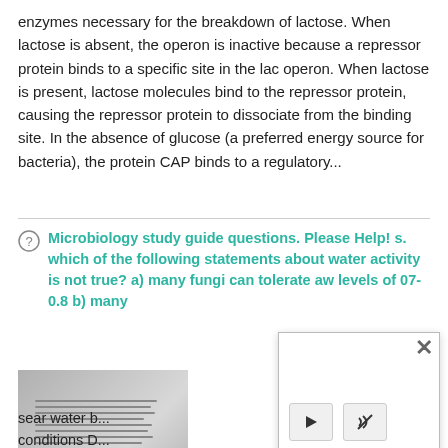enzymes necessary for the breakdown of lactose. When lactose is absent, the operon is inactive because a repressor protein binds to a specific site in the lac operon. When lactose is present, lactose molecules bind to the repressor protein, causing the repressor protein to dissociate from the binding site. In the absence of glucose (a preferred energy source for bacteria), the protein CAP binds to a regulatory...
Microbiology study guide questions. Please Help! s. which of the following statements about water activity is not true? a) many fungi can tolerate aw levels of 07-0.8 b) many
[Figure (photo): A photo of a printed study guide document page with text lines visible]
[Figure (screenshot): A video player popup overlay with a close button (X) and play/mute controls]
sear water b... conditions D... 0.90 Which of the following descriptions about ribosome